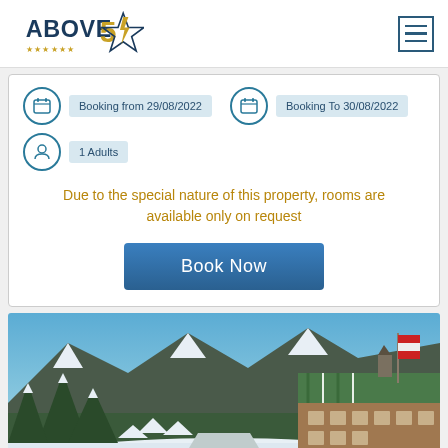[Figure (logo): Above 5 Stars logo with gold star and navy text]
Booking from 29/08/2022
Booking To 30/08/2022
1 Adults
Due to the special nature of this property, rooms are available only on request
Book Now
[Figure (photo): Winter alpine hotel scene with snow-covered mountains, a traditional Austrian chalet hotel (Tennerhof) with green roof, blue sky, and a flagpole with red-white flag]